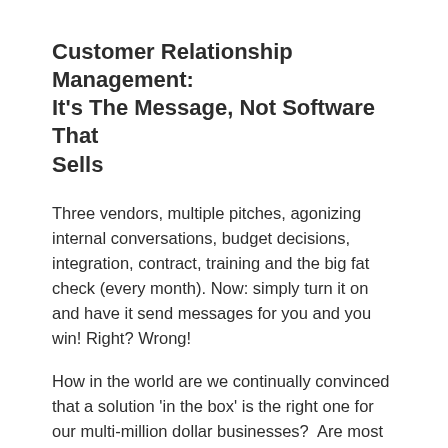Customer Relationship Management: It's The Message, Not Software That Sells
Three vendors, multiple pitches, agonizing internal conversations, budget decisions, integration, contract, training and the big fat check (every month). Now: simply turn it on and have it send messages for you and you win! Right? Wrong!
How in the world are we continually convinced that a solution 'in the box' is the right one for our multi-million dollar businesses?  Are most dealers now buying software and technology the same way that we've bought DMS for the past 20 years?  We have Dell build our own laptops down the finest detail, change the covers on our cell phones so they're more 'us', put 20's on our otherwise stock cars, and